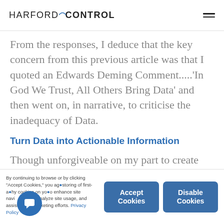HARFORD CONTROL
From the responses, I deduce that the key concern from this previous article was that I quoted an Edwards Deming Comment.....'In God We Trust, All Others Bring Data' and then went on, in narrative, to criticise the inadequacy of Data.
Turn Data into Actionable Information
Though unforgiveable on my part to create such
By continuing to browse or by clicking "Accept Cookies," you agree to the storing of first- and third-party cookies on your device to enhance site navigation, analyze site usage, and assist in our marketing efforts. Privacy Policy